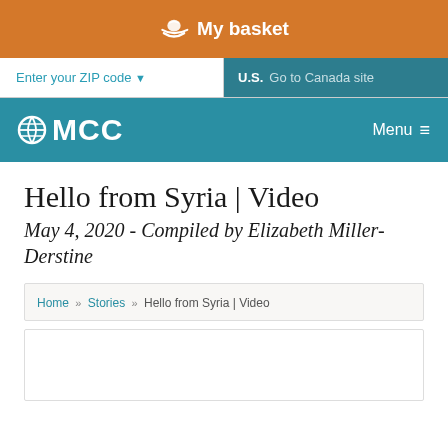My basket
Enter your ZIP code ▼  |  U.S.  Go to Canada site
MCC  Menu
Hello from Syria | Video
May 4, 2020 - Compiled by Elizabeth Miller-Derstine
Home » Stories » Hello from Syria | Video